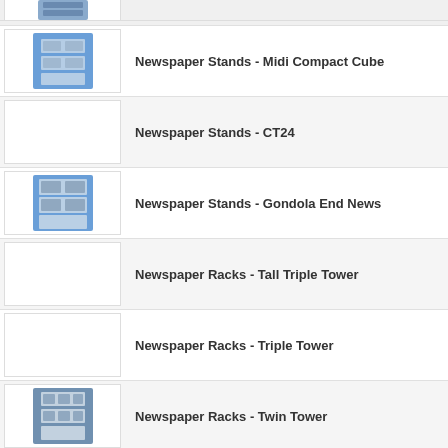[Figure (photo): Partial product image at top of page (cropped)]
Newspaper Stands - Midi Compact Cube
Newspaper Stands - CT24
Newspaper Stands - Gondola End News
Newspaper Racks - Tall Triple Tower
Newspaper Racks - Triple Tower
Newspaper Racks - Twin Tower